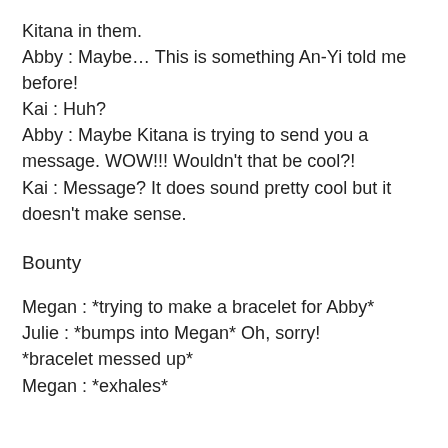Kitana in them.
Abby : Maybe… This is something An-Yi told me before!
Kai : Huh?
Abby : Maybe Kitana is trying to send you a message. WOW!!! Wouldn't that be cool?!
Kai : Message? It does sound pretty cool but it doesn't make sense.
Bounty
Megan : *trying to make a bracelet for Abby*
Julie : *bumps into Megan* Oh, sorry!
*bracelet messed up*
Megan : *exhales*